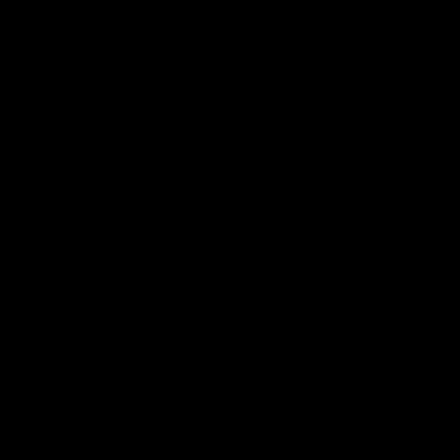[Figure (photo): Entirely black image, no visible content or details]